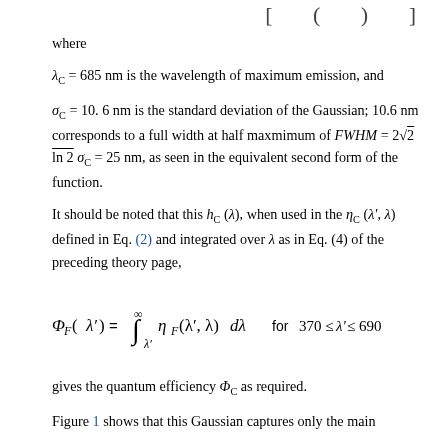where
λC = 685 nm is the wavelength of maximum emission, and
σC = 10.6 nm is the standard deviation of the Gaussian; 10.6 nm corresponds to a full width at half maxmimum of FWHM = 2√(2 ln 2) σC = 25 nm, as seen in the equivalent second form of the function.
It should be noted that this hC(λ), when used in the ηC(λ′, λ) defined in Eq. (2) and integrated over λ as in Eq. (4) of the preceding theory page,
gives the quantum efficiency ΦC as required.
Figure 1 shows that this Gaussian captures only the main